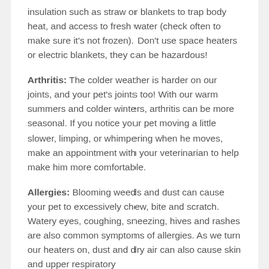insulation such as straw or blankets to trap body heat, and access to fresh water (check often to make sure it's not frozen). Don't use space heaters or electric blankets, they can be hazardous!
Arthritis: The colder weather is harder on our joints, and your pet's joints too! With our warm summers and colder winters, arthritis can be more seasonal. If you notice your pet moving a little slower, limping, or whimpering when he moves, make an appointment with your veterinarian to help make him more comfortable.
Allergies: Blooming weeds and dust can cause your pet to excessively chew, bite and scratch. Watery eyes, coughing, sneezing, hives and rashes are also common symptoms of allergies. As we turn our heaters on, dust and dry air can also cause skin and upper respiratory